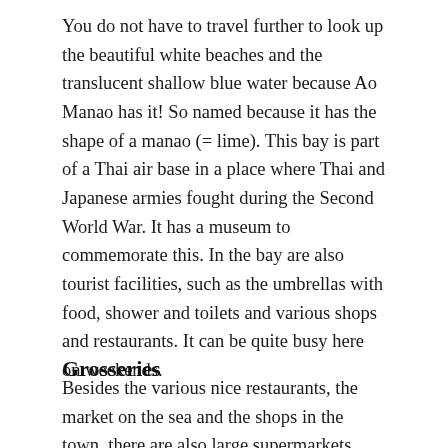You do not have to travel further to look up the beautiful white beaches and the translucent shallow blue water because Ao Manao has it! So named because it has the shape of a manao (= lime). This bay is part of a Thai air base in a place where Thai and Japanese armies fought during the Second World War. It has a museum to commemorate this. In the bay are also tourist facilities, such as the umbrellas with food, shower and toilets and various shops and restaurants. It can be quite busy here on weekends.
Grosseries
Besides the various nice restaurants, the market on the sea and the shops in the town, there are also large supermarkets. There is a Tesco Lotus, Mark